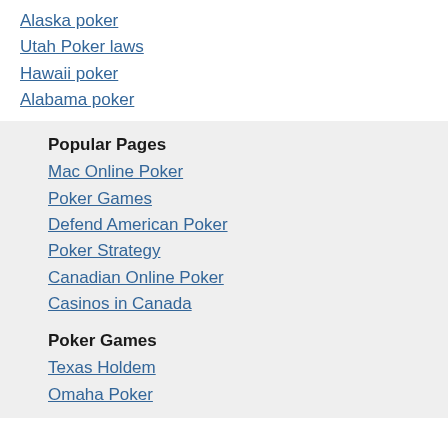Alaska poker
Utah Poker laws
Hawaii poker
Alabama poker
Popular Pages
Mac Online Poker
Poker Games
Defend American Poker
Poker Strategy
Canadian Online Poker
Casinos in Canada
Poker Games
Texas Holdem
Omaha Poker